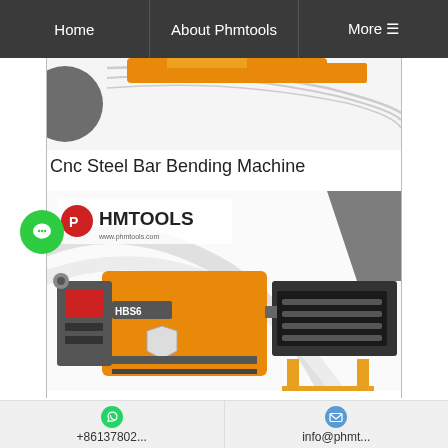Home | About Phmtools | More
[Figure (photo): Partial view of a CNC steel bar bending machine product image with decorative curved lines and dark circular shapes on white background]
Cnc Steel Bar Bending Machine
[Figure (photo): PHMTOOLS branded CNC steel bar bending machine (model HBS) in yellow/orange color with control panel on left and roller/straightener section on right, on white background with decorative curves]
+86137802... | info@phmt...